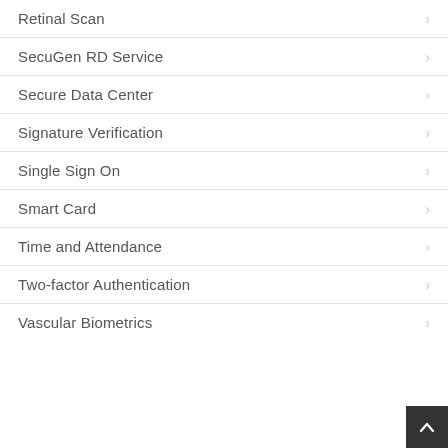Retinal Scan
SecuGen RD Service
Secure Data Center
Signature Verification
Single Sign On
Smart Card
Time and Attendance
Two-factor Authentication
Vascular Biometrics